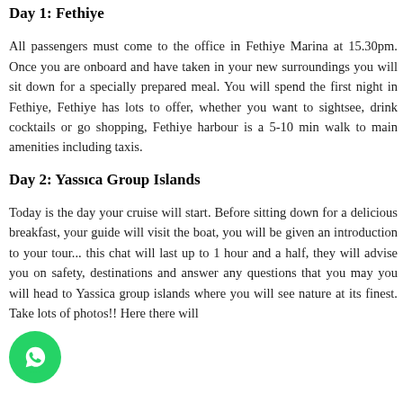Day 1: Fethiye
All passengers must come to the office in Fethiye Marina at 15.30pm. Once you are onboard and have taken in your new surroundings you will sit down for a specially prepared meal. You will spend the first night in Fethiye, Fethiye has lots to offer, whether you want to sightsee, drink cocktails or go shopping, Fethiye harbour is a 5-10 min walk to main amenities including taxis.
Day 2: Yassıca Group Islands
Today is the day your cruise will start. Before sitting down for a delicious breakfast, your guide will visit the boat, you will be given an introduction to your tour... this chat will last up to 1 hour and a half, they will advise you on safety, destinations and answer any questions that you may you will head to Yassica group islands where you will see nature at its finest. Take lots of photos!! Here there will